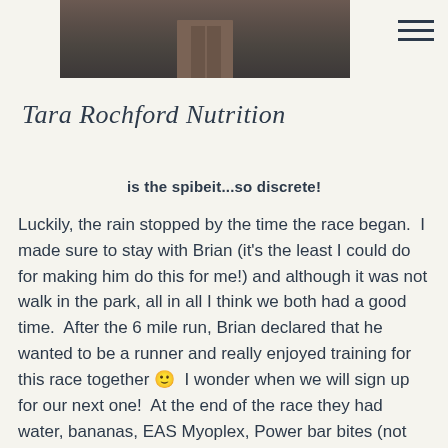[Figure (photo): Partial photo showing legs/lower body of a person, cropped at top of page]
Tara Rochford Nutrition
is the spibeit...so discrete!
Luckily, the rain stopped by the time the race began.  I made sure to stay with Brian (it's the least I could do for making him do this for me!) and although it was not walk in the park, all in all I think we both had a good time.  After the 6 mile run, Brian declared that he wanted to be a runner and really enjoyed training for this race together 🙂  I wonder when we will sign up for our next one!  At the end of the race they had water, bananas, EAS Myoplex, Power bar bites (not that tasty), and